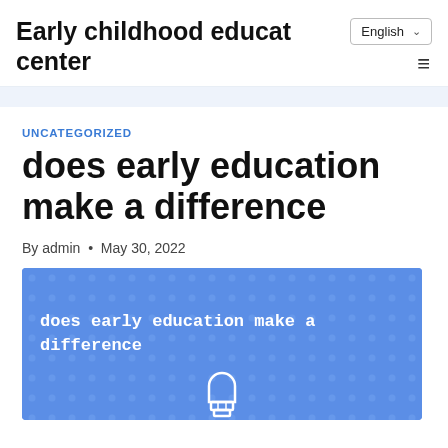Early childhood educat center
UNCATEGORIZED
does early education make a difference
By admin • May 30, 2022
[Figure (illustration): Blue illustrated banner with dot pattern background showing text 'does early education make a difference' and a lightbulb outline at the bottom center]